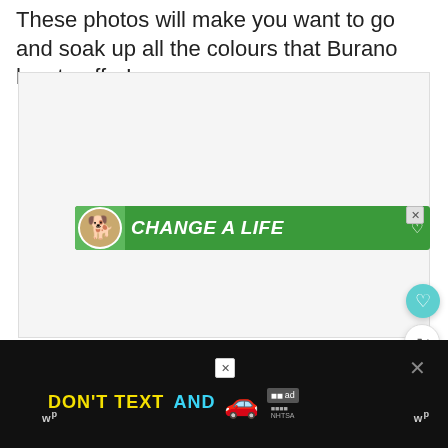These photos will make you want to go and soak up all the colours that Burano has to offer!
[Figure (screenshot): Large light gray advertisement placeholder area with a green 'CHANGE A LIFE' banner ad featuring a dog photo in the center, and a close (X) button in the top right of the banner.]
[Figure (screenshot): Bottom advertisement banner on dark/black background reading 'DON'T TEXT AND' in yellow and cyan text with a red car emoji, and an 'ad' logo with NHTSA branding. An X close button appears at top right.]